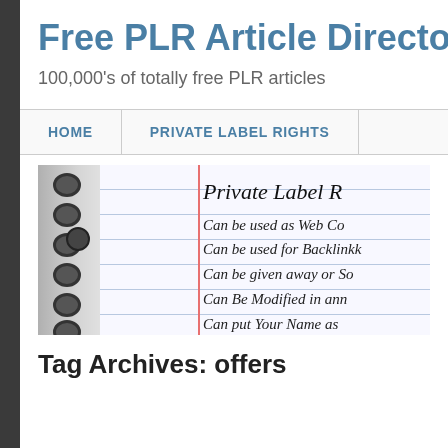Free PLR Article Directo
100,000's of totally free PLR articles
HOME
PRIVATE LABEL RIGHTS
[Figure (photo): A spiral-bound notebook with handwritten text reading 'Private Label R...' with bullet lines: Can be used as Web Co, Can be used for Backlink, Can be given away or So, Can Be Modified in ann, Can put Your Name as, ...rewritten]
Tag Archives: offers